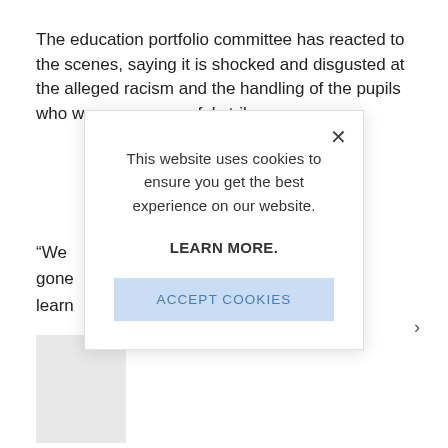The education portfolio committee has reacted to the scenes, saying it is shocked and disgusted at the alleged racism and the handling of the pupils who were on a peaceful strike.
“We gone learn
[Figure (screenshot): Cookie consent modal dialog overlaying the page content. Contains close (X) button, message 'This website uses cookies to ensure you get the best experience on our website.', a bold 'LEARN MORE.' link, and a light-blue 'ACCEPT COOKIES' button.]